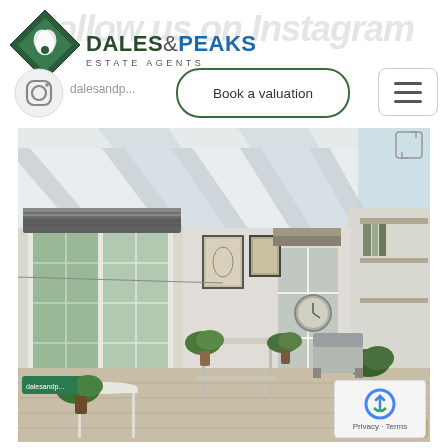Follow us on Instagram
[Figure (logo): Dales & Peaks Estate Agents logo with diamond/leaf icon in green and teal]
[Figure (other): Instagram circle icon]
dalesandp...
Book a valuation
[Figure (photo): Interior photo of a bright conservatory/sunroom with white beamed ceiling, French doors opening to garden, framed botanical prints on wall, plants, console table, and seating area with clock on wall in background]
[Figure (other): reCAPTCHA badge with Privacy and Terms links]